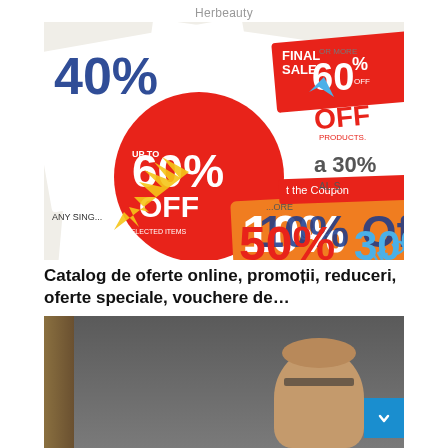Herbeauty
[Figure (photo): Collection of colorful discount coupon stickers showing percentages: 60% OFF, 10% COUPON, 50%, 20%, FINAL SALE 60%, 10% Off, 30%]
Catalog de oferte online, promoții, reduceri, oferte speciale, vouchere de…
[Figure (photo): Elderly bald man photographed indoors against a muted background]